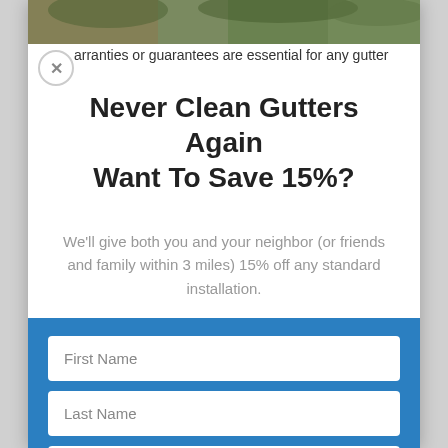[Figure (photo): Outdoor nature/trees background image strip at top of modal]
arranties or guarantees are essential for any gutter
Never Clean Gutters Again
Want To Save 15%?
We'll give both you and your neighbor (or friends and family within 3 miles) 15% off any standard installation.
First Name
Last Name
Email